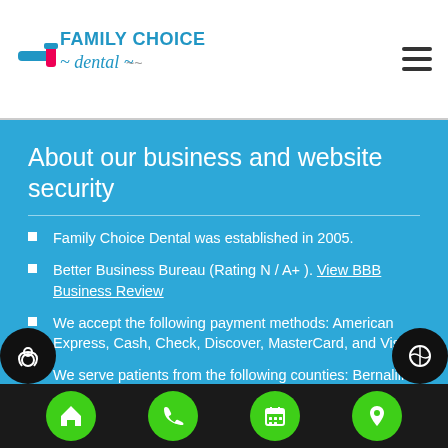Family Choice Dental
About our business and website security
Family Choice Dental was established in 2005.
Better Business Bureau (Rating N / A+ ). View BBB Business Review
We accept the following payment methods: American Express, Cash, Check, Discover, MasterCard, and Visa
We serve patients from the following counties: Bernalillo County
Home, Phone, Calendar, Location